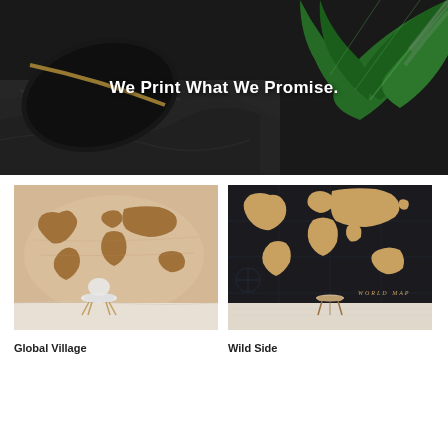[Figure (photo): Hero banner showing rolled wallpaper with black and gold design and green tropical palm leaves, dark background]
We Print What We Promise.
[Figure (photo): World map mural wallpaper in sepia/brown tones on beige background with a modern white chair in foreground]
[Figure (photo): Dark world map mural wallpaper with tan/gold continents on black background with a wooden stool in foreground]
Global Village
Wild Side